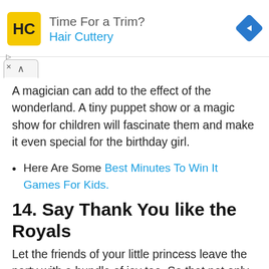[Figure (other): Hair Cuttery advertisement banner with yellow logo, text 'Time For a Trim? Hair Cuttery', and blue diamond navigation icon]
A magician can add to the effect of the wonderland. A tiny puppet show or a magic show for children will fascinate them and make it even special for the birthday girl.
Here Are Some Best Minutes To Win It Games For Kids.
14. Say Thank You like the Royals
Let the friends of your little princess leave the party with a bundle of joy too. So that not only